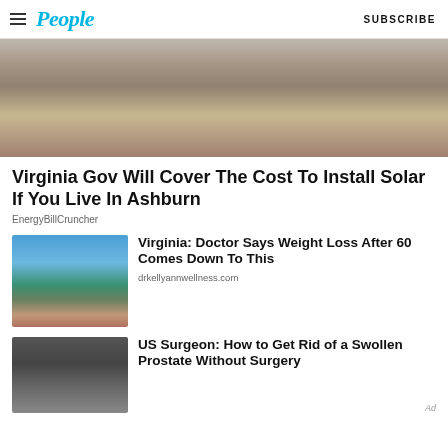People | SUBSCRIBE
[Figure (photo): Partial view of a person sitting at a desk, showing torso, hands resting on desk, and partial view of a black bag]
Virginia Gov Will Cover The Cost To Install Solar If You Live In Ashburn
EnergyBillCruncher
[Figure (photo): Woman in bikini sitting on a dock by a lake with trees in background]
Virginia: Doctor Says Weight Loss After 60 Comes Down To This
drkellyannwellness.com
[Figure (photo): Person wearing a medical head device, partial view]
US Surgeon: How to Get Rid of a Swollen Prostate Without Surgery